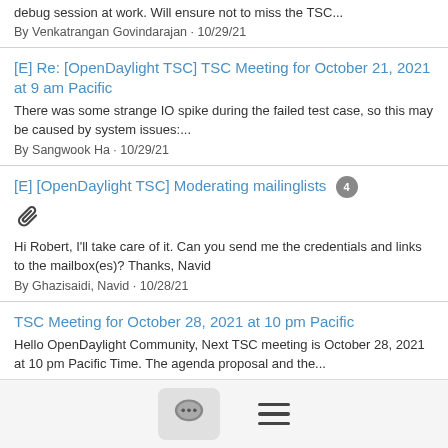debug session at work. Will ensure not to miss the TSC...
By Venkatrangan Govindarajan · 10/29/21
[E] Re: [OpenDaylight TSC] TSC Meeting for October 21, 2021 at 9 am Pacific
There was some strange IO spike during the failed test case, so this may be caused by system issues:...
By Sangwook Ha · 10/29/21
[E] [OpenDaylight TSC] Moderating mailinglists 4
Hi Robert, I'll take care of it. Can you send me the credentials and links to the mailbox(es)? Thanks, Navid
By Ghazisaidi, Navid · 10/28/21
TSC Meeting for October 28, 2021 at 10 pm Pacific
Hello OpenDaylight Community, Next TSC meeting is October 28, 2021 at 10 pm Pacific Time. The agenda proposal and the...
[Figure (screenshot): Bottom navigation bar with chat bubble icon button and hamburger menu icon]